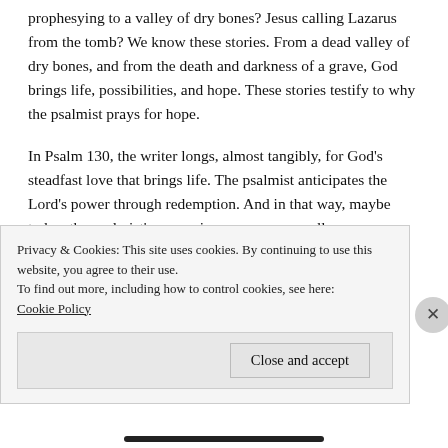prophesying to a valley of dry bones? Jesus calling Lazarus from the tomb? We know these stories. From a dead valley of dry bones, and from the death and darkness of a grave, God brings life, possibilities, and hope. These stories testify to why the psalmist prays for hope.
In Psalm 130, the writer longs, almost tangibly, for God's steadfast love that brings life. The psalmist anticipates the Lord's power through redemption. And in that way, maybe today, the psalmist's prayer is our prayer as well.
We all want life to go back to normal. We want to get
Privacy & Cookies: This site uses cookies. By continuing to use this website, you agree to their use.
To find out more, including how to control cookies, see here: Cookie Policy
Close and accept